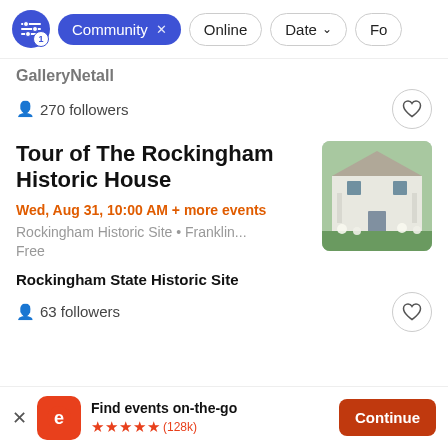[Figure (screenshot): Filter bar with sliders icon with badge 1, Community active pill with X, Online pill, Date pill with dropdown arrow, For... pill (partially visible)]
GalleryNetall (partially visible group name)
270 followers
Tour of The Rockingham Historic House
Wed, Aug 31, 10:00 AM + more events
Rockingham Historic Site • Franklin...
Free
[Figure (photo): Photo of the Rockingham Historic House, a white historic building with a porch, surrounded by greenery and flowering plants]
Rockingham State Historic Site
63 followers
Find events on-the-go ★★★★★ (128k)
Continue